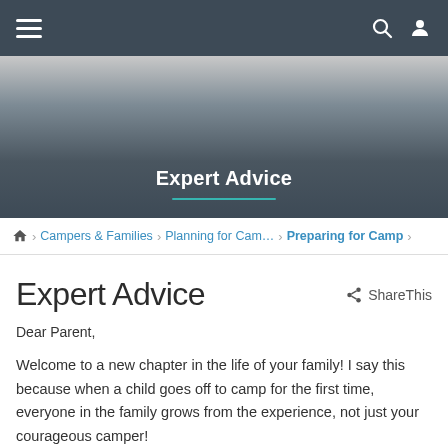Navigation bar with hamburger menu, search icon, and user icon
[Figure (other): Banner with gradient background displaying 'Expert Advice' title and teal underline]
Home > Campers & Families > Planning for Camp > Preparing for Camp >
Expert Advice
ShareThis
Dear Parent,
Welcome to a new chapter in the life of your family! I say this because when a child goes off to camp for the first time, everyone in the family grows from the experience, not just your courageous camper!